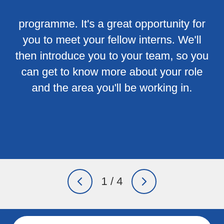programme. It's a great opportunity for you to meet your fellow interns. We'll then introduce you to your team, so you can get to know more about your role and the area you'll be working in.
1 / 4
Back to Homepage